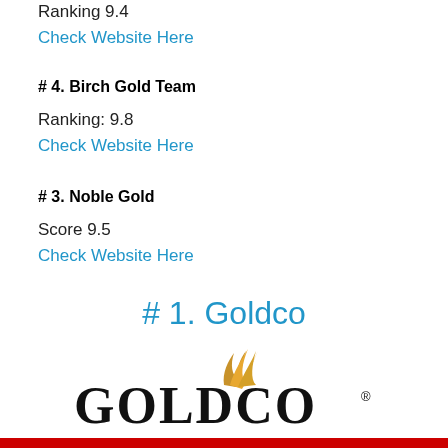Ranking 9.4
Check Website Here
# 4. Birch Gold Team
Ranking: 9.8
Check Website Here
# 3. Noble Gold
Score 9.5
Check Website Here
# 1. Goldco
[Figure (logo): Goldco logo with golden swoosh/flame above the text GOLDCO in large serif font with registered trademark symbol]